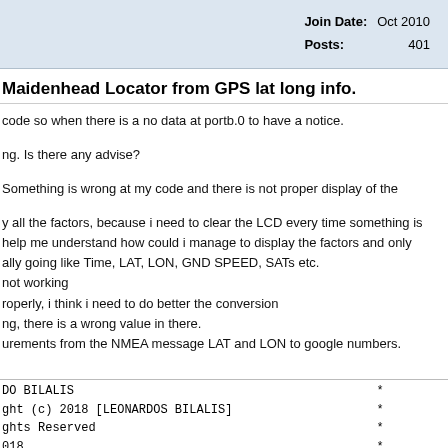Join Date: Oct 2010
Posts: 401
Maidenhead Locator from GPS lat long info.
code so when there is a no data at portb.0 to have a notice.
ng. Is there any advise?
Something is wrong at my code and there is not proper display of the
y all the factors, because i need to clear the LCD every time something is
help me understand how could i manage to display the factors and only
ally going like Time, LAT, LON, GND SPEED, SATs etc.
not working
roperly, i think i need to do better the conversion
ng, there is a wrong value in there.
urements from the NMEA message LAT and LON to google numbers.
DO BILALIS
ght (c) 2018 [LEONARDOS BILALIS]
ghts Reserved
018

s an GPS                    with ulcd
*
*
*
*
*
*
*